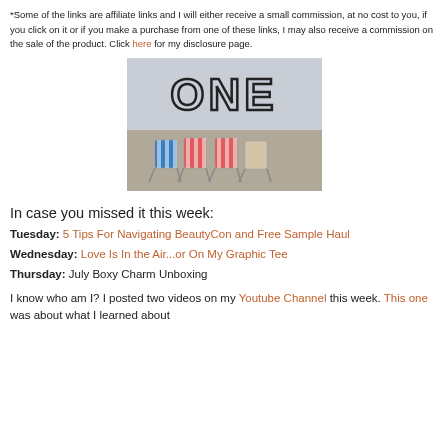*Some of the links are affiliate links and I will either receive a small commission, at no cost to you, if you click on it or if you make a purchase from one of these links, I may also receive a commission on the sale of the product. Click here for my disclosure page.
[Figure (photo): Image showing the word ONE in large outlined block letters above four striped beach chairs on a pebbly beach.]
In case you missed it this week:
Tuesday: 5 Tips For Navigating BeautyCon and Free Sample Haul
Wednesday: Love Is In the Air...or On My Graphic Tee
Thursday: July Boxy Charm Unboxing
I know who am I? I posted two videos on my Youtube Channel this week. This one was about what I learned about